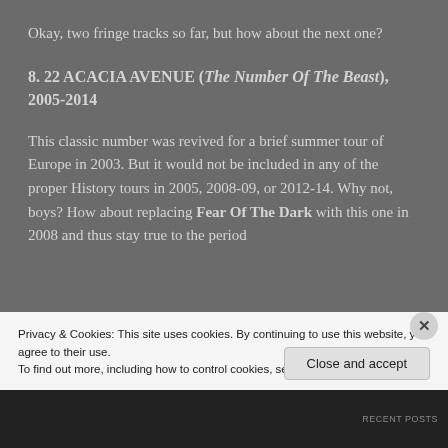Okay, two fringe tracks so far, but how about the next one?
8. 22 ACACIA AVENUE (The Number Of The Beast), 2005-2014
This classic number was revived for a brief summer tour of Europe in 2003. But it would not be included in any of the proper History tours in 2005, 2008-09, or 2012-14. Why not, boys? How about replacing Fear Of The Dark with this one in 2008 and thus stay true to the period
Privacy & Cookies: This site uses cookies. By continuing to use this website, you agree to their use.
To find out more, including how to control cookies, see here: Cookie Policy
Close and accept